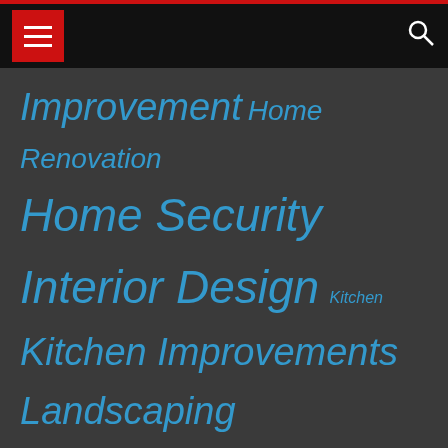Navigation bar with hamburger menu and search icon
Improvement Home Renovation Home Security Interior Design Kitchen Kitchen Improvements Landscaping Moving and Relocating Pest Control Plumbing Roofing Services Slider
EMAIL NEWSLETTER
Subscribe to our newsletter for useful tips and valuable resources.